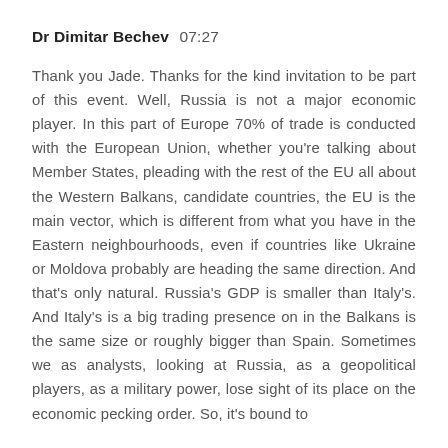Dr Dimitar Bechev  07:27
Thank you Jade. Thanks for the kind invitation to be part of this event. Well, Russia is not a major economic player. In this part of Europe 70% of trade is conducted with the European Union, whether you're talking about Member States, pleading with the rest of the EU all about the Western Balkans, candidate countries, the EU is the main vector, which is different from what you have in the Eastern neighbourhoods, even if countries like Ukraine or Moldova probably are heading the same direction. And that's only natural. Russia's GDP is smaller than Italy's. And Italy's is a big trading presence on in the Balkans is the same size or roughly bigger than Spain. Sometimes we as analysts, looking at Russia, as a geopolitical players, as a military power, lose sight of its place on the economic pecking order. So, it's bound to